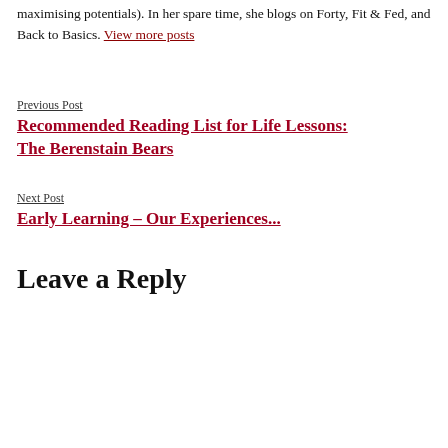maximising potentials). In her spare time, she blogs on Forty, Fit & Fed, and Back to Basics. View more posts
Previous Post
Recommended Reading List for Life Lessons: The Berenstain Bears
Next Post
Early Learning – Our Experiences...
Leave a Reply